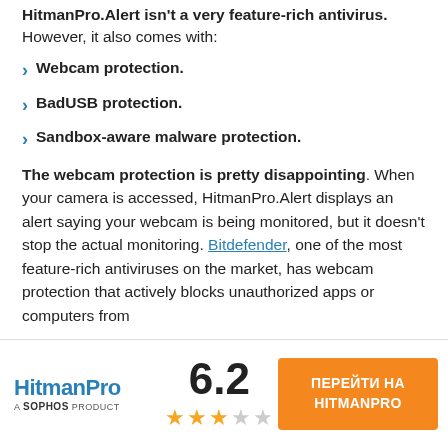HitmanPro.Alert isn't a very feature-rich antivirus. However, it also comes with:
Webcam protection.
BadUSB protection.
Sandbox-aware malware protection.
The webcam protection is pretty disappointing. When your camera is accessed, HitmanPro.Alert displays an alert saying your webcam is being monitored, but it doesn't stop the actual monitoring. Bitdefender, one of the most feature-rich antiviruses on the market, has webcam protection that actively blocks unauthorized apps or computers from
HitmanPro A SOPHOS PRODUCT | 6.2 | ПЕРЕЙТИ НА HITMANPRO